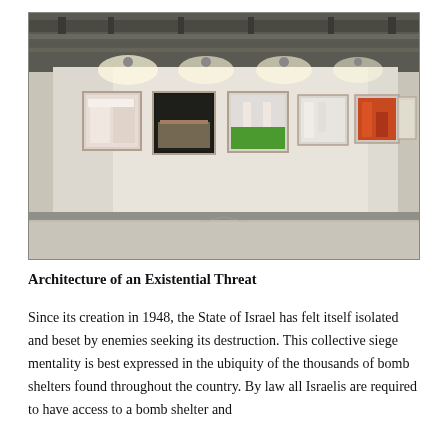[Figure (photo): Interior of an art gallery with a long white wall displaying a row of approximately seven framed photographs. The space has an industrial ceiling with exposed ductwork and spot lighting illuminating each artwork. The floor is polished concrete. The photographs on the wall appear to show interior spaces in various colors.]
Architecture of an Existential Threat
Since its creation in 1948, the State of Israel has felt itself isolated and beset by enemies seeking its destruction. This collective siege mentality is best expressed in the ubiquity of the thousands of bomb shelters found throughout the country. By law all Israelis are required to have access to a bomb shelter and